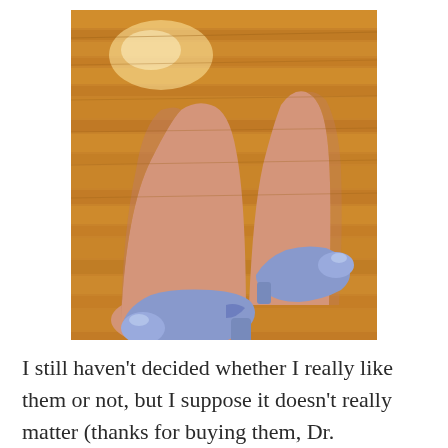[Figure (photo): A person's legs wearing periwinkle/light blue low-heeled pumps, viewed from above, standing on a honey-colored hardwood floor.]
I still haven't decided whether I really like them or not, but I suppose it doesn't really matter (thanks for buying them, Dr. Psychologist.  I can't afford to buy